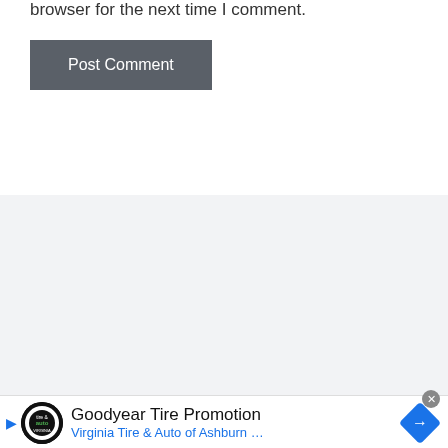browser for the next time I comment.
[Figure (screenshot): Post Comment button — dark gray/charcoal rounded rectangle with white text]
[Figure (screenshot): Gray empty content area]
[Figure (screenshot): Ad banner: Goodyear Tire Promotion — Virginia Tire & Auto of Ashburn ... with logo and navigation diamond icon]